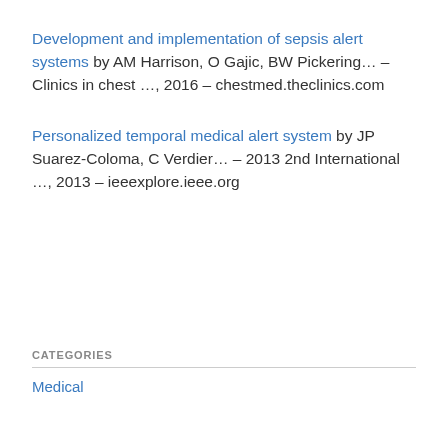Development and implementation of sepsis alert systems by AM Harrison, O Gajic, BW Pickering… – Clinics in chest …, 2016 – chestmed.theclinics.com
Personalized temporal medical alert system by JP Suarez-Coloma, C Verdier… – 2013 2nd International …, 2013 – ieeexplore.ieee.org
CATEGORIES
Medical